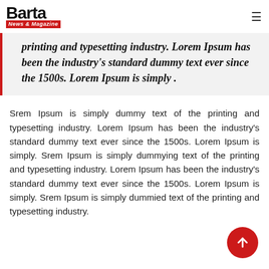Barta News & Magazine
printing and typesetting industry. Lorem Ipsum has been the industry's standard dummy text ever since the 1500s. Lorem Ipsum is simply .
Srem Ipsum is simply dummy text of the printing and typesetting industry. Lorem Ipsum has been the industry's standard dummy text ever since the 1500s. Lorem Ipsum is simply. Srem Ipsum is simply dummying text of the printing and typesetting industry. Lorem Ipsum has been the industry's standard dummy text ever since the 1500s. Lorem Ipsum is simply. Srem Ipsum is simply dummied text of the printing and typesetting industry.